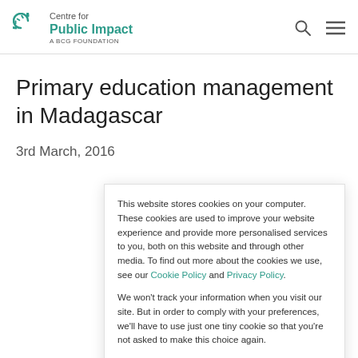Centre for Public Impact — A BCG FOUNDATION
Primary education management in Madagascar
3rd March, 2016
This website stores cookies on your computer. These cookies are used to improve your website experience and provide more personalised services to you, both on this website and through other media. To find out more about the cookies we use, see our Cookie Policy and Privacy Policy.

We won't track your information when you visit our site. But in order to comply with your preferences, we'll have to use just one tiny cookie so that you're not asked to make this choice again.